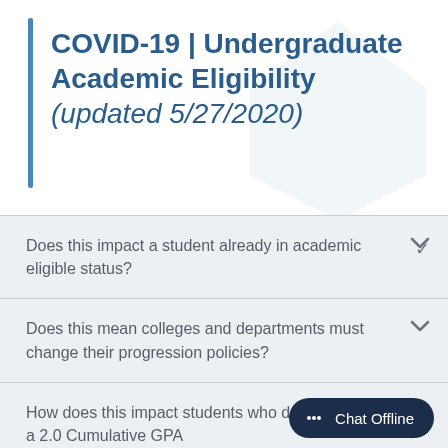COVID-19 | Undergraduate Academic Eligibility (updated 5/27/2020)
Does this impact a student already in academic eligible status?
Does this mean colleges and departments must change their progression policies?
How does this impact students who do not have a 2.0 Cumulative GPA